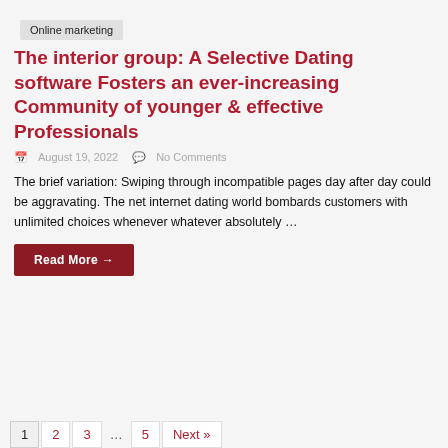Online marketing
The interior group: A Selective Dating software Fosters an ever-increasing Community of younger & effective Professionals
August 19, 2022   No Comments
The brief variation: Swiping through incompatible pages day after day could be aggravating. The net internet dating world bombards customers with unlimited choices whenever whatever absolutely ...
Read More →
1  2  3  …  5  Next »